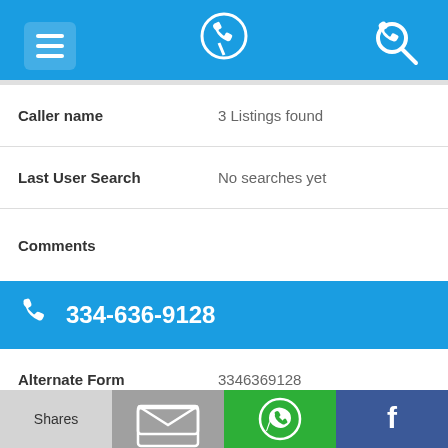[Figure (screenshot): Top navigation bar with menu icon, phone-pin logo, and search icon on blue background]
| Caller name | 3 Listings found |
| Last User Search | No searches yet |
| Comments |  |
334-636-9128
| Alternate Form | 3346369128 |
| Caller name | 3 Listings found |
[Figure (screenshot): Bottom share bar with Shares, email, WhatsApp, and Facebook buttons]